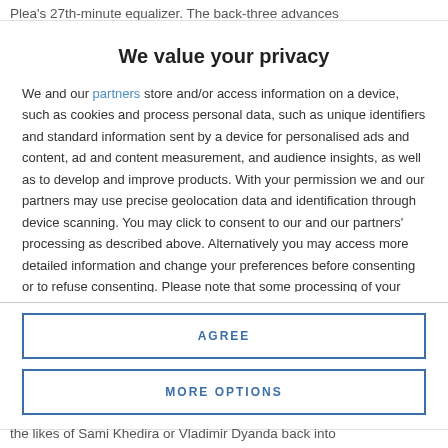Plea's 27th-minute equalizer. The back-three advances
We value your privacy
We and our partners store and/or access information on a device, such as cookies and process personal data, such as unique identifiers and standard information sent by a device for personalised ads and content, ad and content measurement, and audience insights, as well as to develop and improve products. With your permission we and our partners may use precise geolocation data and identification through device scanning. You may click to consent to our and our partners' processing as described above. Alternatively you may access more detailed information and change your preferences before consenting or to refuse consenting. Please note that some processing of your personal data may not require your consent, but you have a right to
AGREE
MORE OPTIONS
the likes of Sami Khedira or Vladimir Dyanda back into